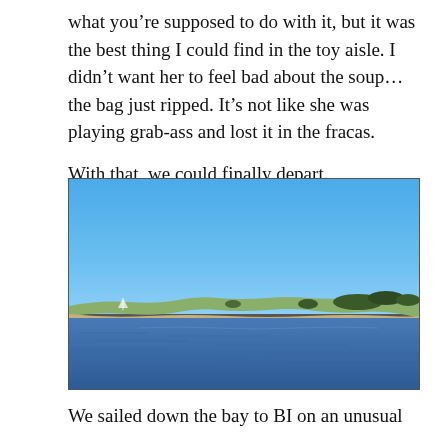what you’re supposed to do with it, but it was the best thing I could find in the toy aisle. I didn’t want her to feel bad about the soup…the bag just ripped. It’s not like she was playing grab-ass and lost it in the fracas.

With that, we could finally depart.
[Figure (photo): Outdoor photograph showing a wide body of calm blue water in the foreground with a low-lying coastal landmass or island visible in the middle distance, covered with sparse vegetation and sandy shoreline. The sky above is a clear, bright blue with no clouds. The horizon line sits roughly in the middle of the image.]
We sailed down the bay to BI on an unusual